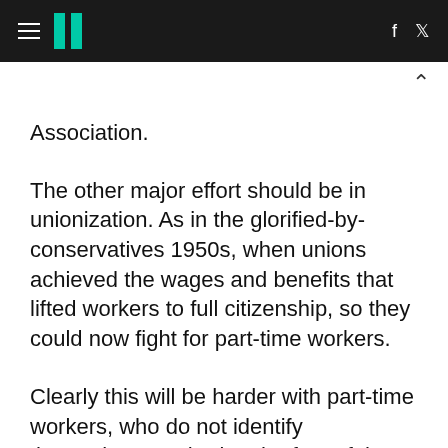HuffPost navigation header with hamburger menu, logo, Facebook and Twitter icons
Association.
The other major effort should be in unionization. As in the glorified-by-conservatives 1950s, when unions achieved the wages and benefits that lifted workers to full citizenship, so they could now fight for part-time workers.
Clearly this will be harder with part-time workers, who do not identify themselves as sharing the fate of the companies that employ them. But there have been successful organizing campaign of products or interested to see the that it is incredible